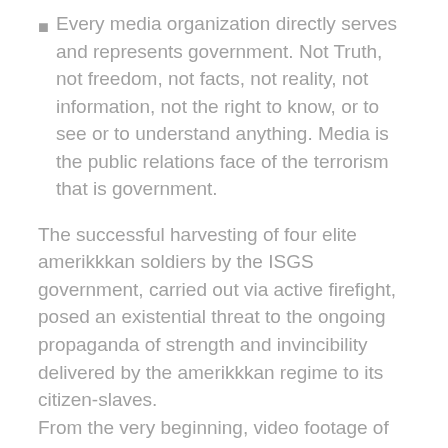Every media organization directly serves and represents government. Not Truth, not freedom, not facts, not reality, not information, not the right to know, or to see or to understand anything. Media is the public relations face of the terrorism that is government.
The successful harvesting of four elite amerikkkan soldiers by the ISGS government, carried out via active firefight, posed an existential threat to the ongoing propaganda of strength and invincibility delivered by the amerikkkan regime to its citizen-slaves.
From the very beginning, video footage of this successful attack has existed and been in the possession of the media, and it has been consistently censored, as part of the open-air conspiracy of Truth murder carried out by the regime, in tandem with western media, which exists